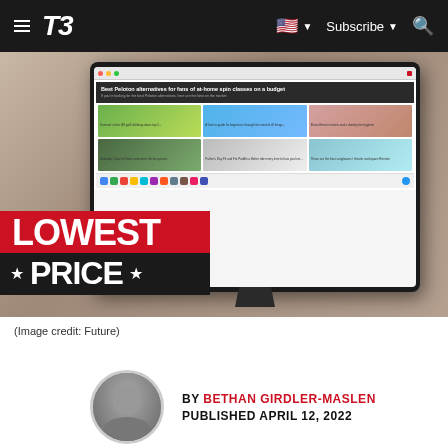T3 — Subscribe
[Figure (photo): Microsoft Surface Pro tablet displayed in kickstand mode on a wooden desk, showing the T3 website on its screen. Overlaid with a red and black 'LOWEST PRICE' badge in the bottom left corner.]
(Image credit: Future)
BY BETHAN GIRDLER-MASLEN
PUBLISHED APRIL 12, 2022